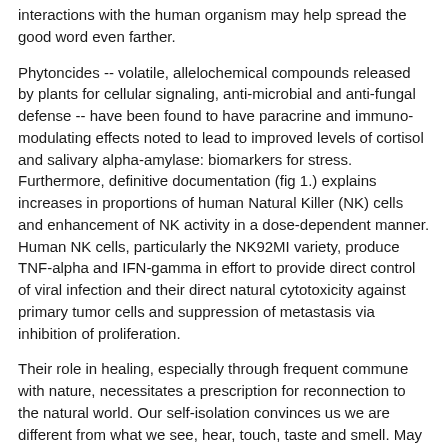interactions with the human organism may help spread the good word even farther.
Phytoncides -- volatile, allelochemical compounds released by plants for cellular signaling, anti-microbial and anti-fungal defense -- have been found to have paracrine and immuno-modulating effects noted to lead to improved levels of cortisol and salivary alpha-amylase: biomarkers for stress. Furthermore, definitive documentation (fig 1.) explains increases in proportions of human Natural Killer (NK) cells and enhancement of NK activity in a dose-dependent manner. Human NK cells, particularly the NK92MI variety, produce TNF-alpha and IFN-gamma in effort to provide direct control of viral infection and their direct natural cytotoxicity against primary tumor cells and suppression of metastasis via inhibition of proliferation.
Their role in healing, especially through frequent commune with nature, necessitates a prescription for reconnection to the natural world. Our self-isolation convinces us we are different from what we see, hear, touch, taste and smell. May we all experience the truth today, somewhere beautiful.
To view the study:
https://www.ncbi.nlm.nih.gov/pmc/articles/PMC2793341/